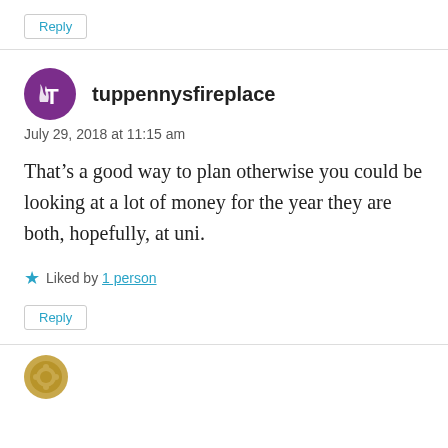Reply
tuppennysfireplace
July 29, 2018 at 11:15 am
That’s a good way to plan otherwise you could be looking at a lot of money for the year they are both, hopefully, at uni.
Liked by 1 person
Reply